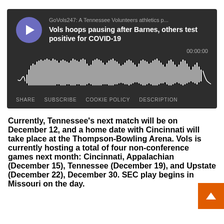[Figure (screenshot): Podcast player widget with dark background showing GoVols247 podcast episode titled 'Vols hoops pausing after Barnes, others test positive for COVID-19', with play button, audio waveform visualization, timestamp 00:00:00, and controls: SHARE, SUBSCRIBE, COOKIE POLICY, DESCRIPTION]
Currently, Tennessee's next match will be on December 12, and a home date with Cincinnati will take place at the Thompson-Bowling Arena. Vols is currently hosting a total of four non-conference games next month: Cincinnati, Appalachian (December 15), Tennessee (December 19), and Upstate (December 22), December 30. SEC play begins in Missouri on the day.